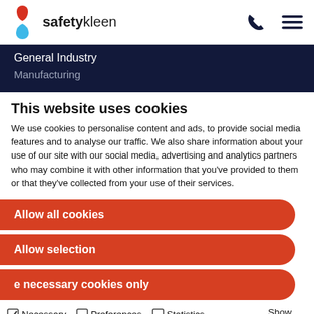[Figure (logo): Safety-Kleen logo with red and blue swirl icon and text 'safetykleen']
General Industry
Manufacturing
This website uses cookies
We use cookies to personalise content and ads, to provide social media features and to analyse our traffic. We also share information about your use of our site with our social media, advertising and analytics partners who may combine it with other information that you've provided to them or that they've collected from your use of their services.
Allow all cookies
Allow selection
e necessary cookies only
Necessary  Preferences  Statistics  Marketing  Show details